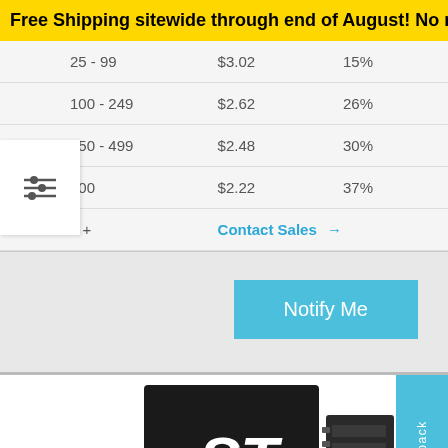Free Shipping sitewide through end of August! No minim
| Qty | Price | Discount |
| --- | --- | --- |
| 25 - 99 | $3.02 | 15% |
| 100 - 249 | $2.62 | 26% |
| 250 - 499 | $2.48 | 30% |
| 500 | $2.22 | 37% |
| 1000 + | Contact Sales → |  |
[Figure (screenshot): Notify Me button (light blue)]
[Figure (logo): STMicroelectronics IC chip product image with ST logo]
Feedback